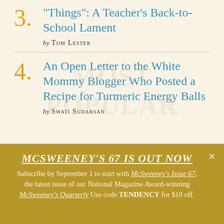3. "Things": A Teacher's Back-to-School Lament by TOM LESTER
4. An Open Letter to the White Mommy Blogger Who Posted a Recipe for Turmeric Energy Balls by SWATI SUDARSAN
MCSWEENEY'S 67 IS OUT NOW Subscribe by September 1 to start with McSweeney's Issue 67, the latest issue of our National Magazine Award-winning McSweeney's Quarterly Use code TENDENCY for $10 off.